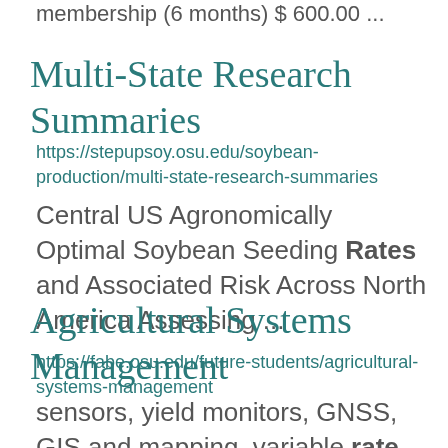membership (6 months) $ 600.00 ...
Multi-State Research Summaries
https://stepupsoy.osu.edu/soybean-production/multi-state-research-summaries
Central US Agronomically Optimal Soybean Seeding Rates and Associated Risk Across North America Assessing ...
Agricultural Systems Management
https://fabe.osu.edu/future-students/agricultural-systems-management
sensors, yield monitors, GNSS, GIS and mapping, variable rate controllers, and automated guidance. ...